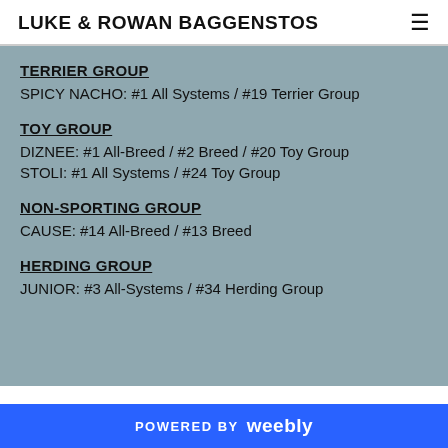LUKE & ROWAN BAGGENSTOS
TERRIER GROUP
SPICY NACHO: #1 All Systems / #19 Terrier Group
TOY GROUP
DIZNEE: #1 All-Breed / #2 Breed / #20 Toy Group
STOLI: #1 All Systems / #24 Toy Group
NON-SPORTING GROUP
CAUSE: #14 All-Breed / #13 Breed
HERDING GROUP
JUNIOR: #3 All-Systems / #34 Herding Group
POWERED BY weebly